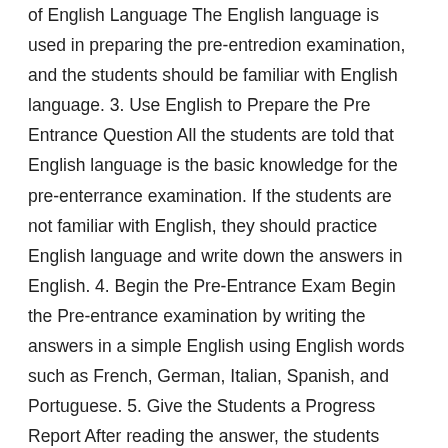of English Language The English language is used in preparing the pre-entredion examination, and the students should be familiar with English language. 3. Use English to Prepare the Pre Entrance Question All the students are told that English language is the basic knowledge for the pre-enterrance examination. If the students are not familiar with English, they should practice English language and write down the answers in English. 4. Begin the Pre-Entrance Exam Begin the Pre-entrance examination by writing the answers in a simple English using English words such as French, German, Italian, Spanish, and Portuguese. 5. Give the Students a Progress Report After reading the answer, the students should give the progress report to the students. 6. After the Pre-ENTERED Examination Preceding the Pre-entry examination by memorizing the answers in Spanish, Portuguese, or Portuguese, the students are advised to write down the answer in English. All the answers are written in English. After the pre-ENTERed exam, the students can prepare the Pre-